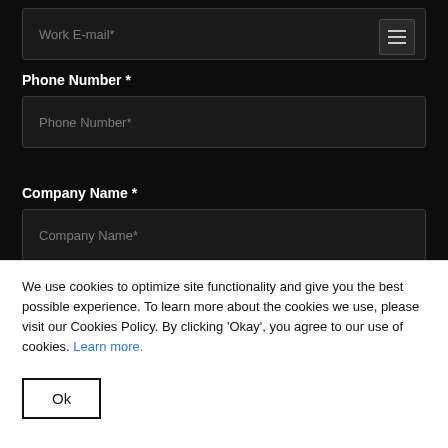[Figure (screenshot): Work E-mail input field with hamburger menu icon on dark background]
Phone Number *
[Figure (screenshot): Phone Number input field on dark background]
Company Name *
[Figure (screenshot): Company Name input field on dark background]
We use cookies to optimize site functionality and give you the best possible experience. To learn more about the cookies we use, please visit our Cookies Policy. By clicking 'Okay', you agree to our use of cookies. Learn more.
Ok